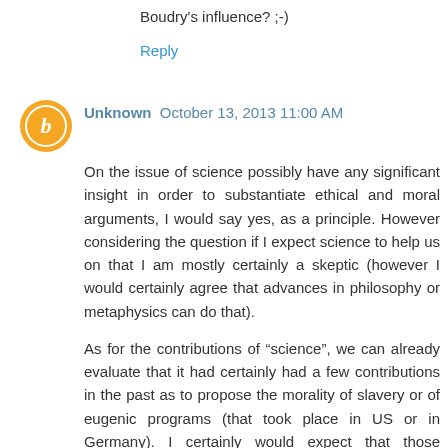Boudry's influence? ;-)
Reply
Unknown  October 13, 2013 11:00 AM
On the issue of science possibly have any significant insight in order to substantiate ethical and moral arguments, I would say yes, as a principle. However considering the question if I expect science to help us on that I am mostly certainly a skeptic (however I would certainly agree that advances in philosophy or metaphysics can do that).
As for the contributions of “science”, we can already evaluate that it had certainly had a few contributions in the past as to propose the morality of slavery or of eugenic programs (that took place in US or in Germany). I certainly would expect that those unfortunate experiences would enlighten (and cool) somehow the expectations of the optimists about the contributions of science on those issues.